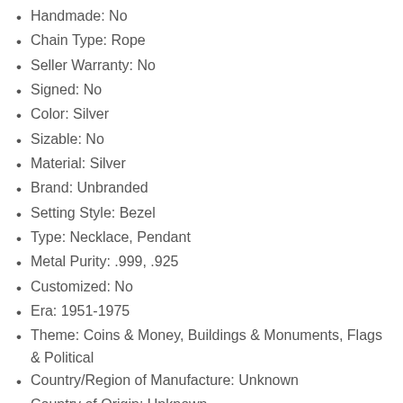Handmade: No
Chain Type: Rope
Seller Warranty: No
Signed: No
Color: Silver
Sizable: No
Material: Silver
Brand: Unbranded
Setting Style: Bezel
Type: Necklace, Pendant
Metal Purity: .999, .925
Customized: No
Era: 1951-1975
Theme: Coins & Money, Buildings & Monuments, Flags & Political
Country/Region of Manufacture: Unknown
Country of Origin: Unknown
Wholesale: No